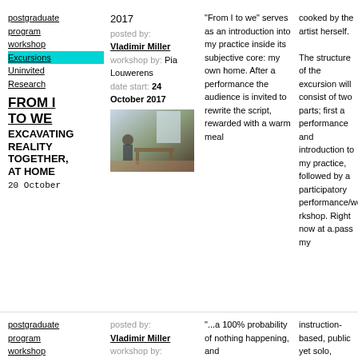postgraduate
program
workshop
Excursions
Uninvited
Research
FROM I TO WE
EXCAVATING REALITY TOGETHER, AT HOME
20 October
2017
posted by: Vladimir Miller
workshop by: Pia Louwerens
date start: 24 October 2017
[Figure (photo): Interior photo showing a person seated in a room with a table and chairs, natural light from window]
"From I to we" serves as an introduction into my practice inside its subjective core: my own home. After a performance the audience is invited to rewrite the script, rewarded with a warm meal
cooked by the artist herself.

The structure of the excursion will consist of two parts; first a performance and introduction to my practice, followed by a participatory performance/workshop. Right now at a.pass my
postgraduate
program
workshop
Excursions
posted by: Vladimir Miller
workshop by: Eleanor Ivory
"...a 100% probability of nothing happening, and
instruction-based, public yet solo, listening & reading exercise